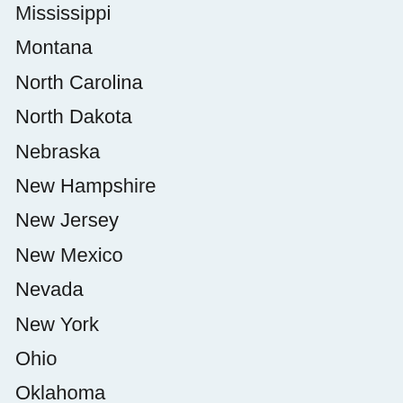Mississippi
Montana
North Carolina
North Dakota
Nebraska
New Hampshire
New Jersey
New Mexico
Nevada
New York
Ohio
Oklahoma
Oregon
Pennsylvania
Puerto Ri...